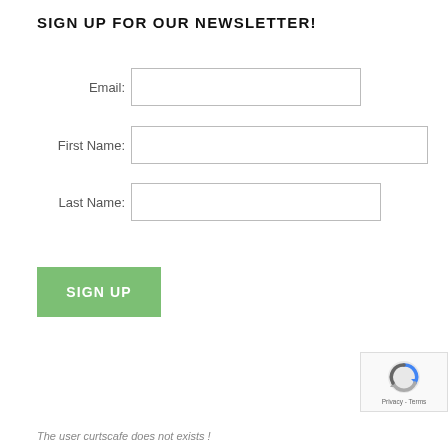SIGN UP FOR OUR NEWSLETTER!
Email:
First Name:
Last Name:
SIGN UP
[Figure (logo): reCAPTCHA logo with Privacy and Terms text]
The user curtscafe does not exists !